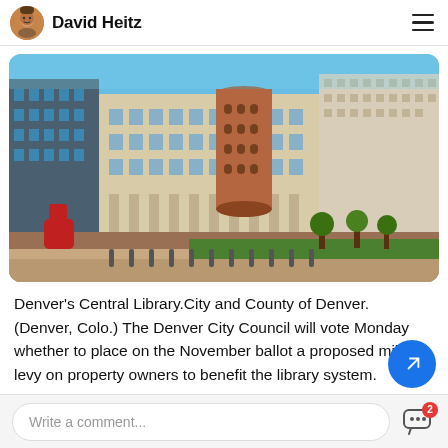David Heitz
[Figure (photo): Denver's Central Library building — a large multi-story civic building with brick and limestone facades, blue sky background, red sculpture visible at left, trees and plaza in foreground.]
Denver's Central Library.City and County of Denver.
(Denver, Colo.) The Denver City Council will vote Monday whether to place on the November ballot a proposed mill tax levy on property owners to benefit the library system.